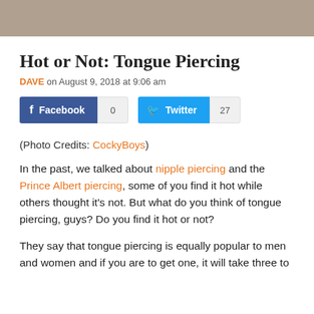[Figure (photo): Top portion of a photo strip showing a person, cropped at the top of the page]
Hot or Not: Tongue Piercing
DAVE on August 9, 2018 at 9:06 am
[Figure (infographic): Social share buttons: Facebook with count 0, Twitter with count 27]
(Photo Credits: CockyBoys)
In the past, we talked about nipple piercing and the Prince Albert piercing, some of you find it hot while others thought it's not. But what do you think of tongue piercing, guys? Do you find it hot or not?
They say that tongue piercing is equally popular to men and women and if you are to get one, it will take three to